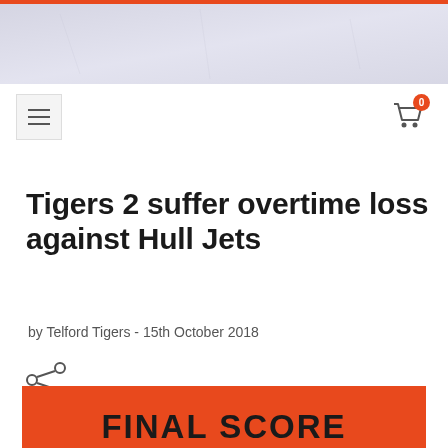[Figure (illustration): Website header banner with light grey/blue textured background and orange top border stripe]
[Figure (illustration): Hamburger menu icon (three horizontal lines) in a light grey box, and shopping cart icon with red badge showing '0' count]
Tigers 2 suffer overtime loss against Hull Jets
by Telford Tigers - 15th October 2018
[Figure (illustration): Share icon (three connected dots)]
[Figure (illustration): Bottom portion of orange image/graphic with text 'FINAL SCORE' in bold black letters]